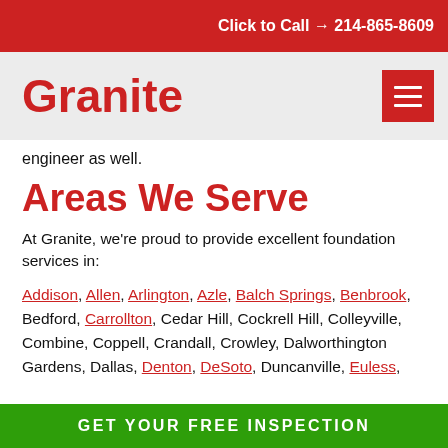Click to Call → 214-865-8609
Granite
engineer as well.
Areas We Serve
At Granite, we're proud to provide excellent foundation services in:
Addison, Allen, Arlington, Azle, Balch Springs, Benbrook, Bedford, Carrollton, Cedar Hill, Cockrell Hill, Colleyville, Combine, Coppell, Crandall, Crowley, Dalworthington Gardens, Dallas, Denton, DeSoto, Duncanville, Euless,
GET YOUR FREE INSPECTION